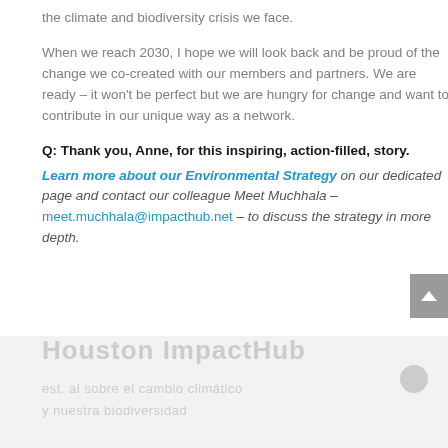the climate and biodiversity crisis we face.
When we reach 2030, I hope we will look back and be proud of the change we co-created with our members and partners. We are ready – it won't be perfect but we are hungry for change and want to contribute in our unique way as a network.
Q: Thank you, Anne, for this inspiring, action-filled, story.
Learn more about our Environmental Strategy on our dedicated page and contact our colleague Meet Muchhala – meet.muchhala@impacthub.net – to discuss the strategy in more depth.
[Figure (other): Faded background section with watermark-like text showing Houston ImpactHub content, partially visible at bottom of page]